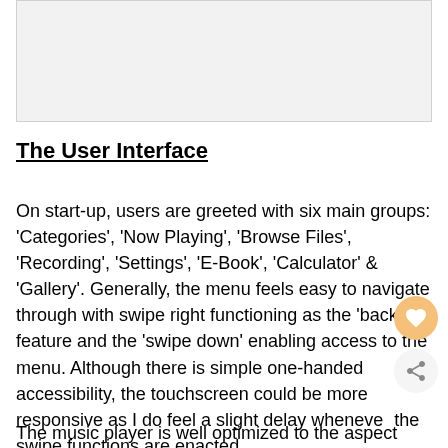[Figure (other): Placeholder image area at top of page, light gray background]
The User Interface
On start-up, users are greeted with six main groups: 'Categories', 'Now Playing', 'Browse Files', 'Recording', 'Settings', 'E-Book', 'Calculator' & 'Gallery'. Generally, the menu feels easy to navigate through with swipe right functioning as the 'back' feature and the 'swipe down' enabling access to the menu. Although there is simple one-handed accessibility, the touchscreen could be more responsive as I do feel a slight delay whenever the swipe functions are enacted.
The music player is well optimized to the aspect ratio